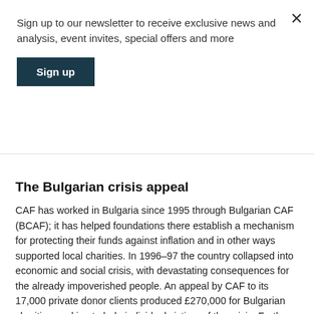Sign up to our newsletter to receive exclusive news and analysis, event invites, special offers and more
Sign up
The Bulgarian crisis appeal
CAF has worked in Bulgaria since 1995 through Bulgarian CAF (BCAF); it has helped foundations there establish a mechanism for protecting their funds against inflation and in other ways supported local charities. In 1996–97 the country collapsed into economic and social crisis, with devastating consequences for the already impoverished people. An appeal by CAF to its 17,000 private donor clients produced £270,000 for Bulgarian charities working to help individual victims of the crisis. Further funds of £100,000 were actually raised inside Bulgaria by BCAF.